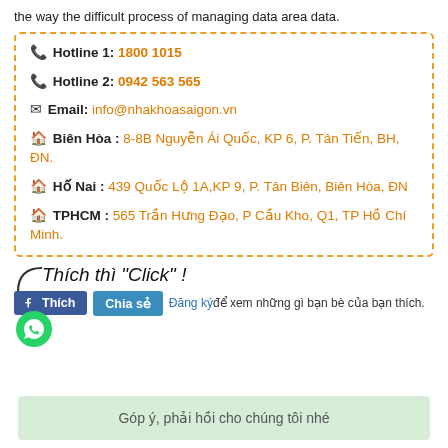the way the difficult process of managing data area data.
Hotline 1: 1800 1015
Hotline 2: 0942 563 565
Email: info@nhakhoasaigon.vn
Biên Hòa : 8-8B Nguyễn Ái Quốc, KP 6, P. Tân Tiến, BH, ĐN.
Hố Nai : 439 Quốc Lộ 1A,KP 9, P. Tân Biên, Biên Hòa, ĐN
TPHCM : 565 Trần Hưng Đạo, P Cầu Kho, Q1, TP Hồ Chí Minh.
[Figure (infographic): Thich thi Click! text with arrow, Facebook Like and Share buttons, WhatsApp icon, and subscription text]
Góp ý, phải hồi cho chúng tôi nhé